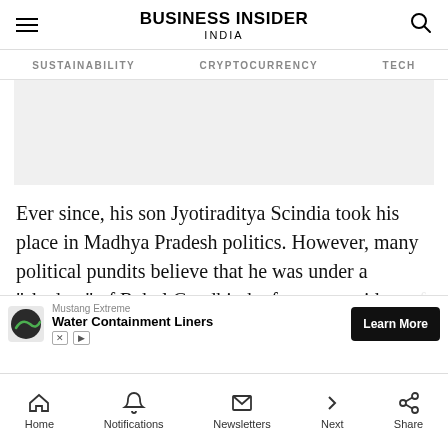BUSINESS INSIDER INDIA
SUSTAINABILITY   CRYPTOCURRENCY   TECH
[Figure (other): Gray advertisement placeholder image block]
Ever since, his son Jyotiraditya Scindia took his place in Madhya Pradesh politics. However, many political pundits believe that he was under a "shadow" of Rahul Gandhi, the former president of the party. It could have been one of the m...
[Figure (other): Advertisement banner: Mustang Extreme Water Containment Liners with Learn More button]
Home   Notifications   Newsletters   Next   Share